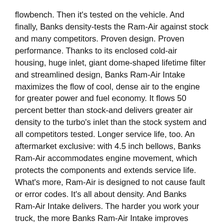flowbench. Then it's tested on the vehicle. And finally, Banks density-tests the Ram-Air against stock and many competitors. Proven design. Proven performance. Thanks to its enclosed cold-air housing, huge inlet, giant dome-shaped lifetime filter and streamlined design, Banks Ram-Air Intake maximizes the flow of cool, dense air to the engine for greater power and fuel economy. It flows 50 percent better than stock-and delivers greater air density to the turbo's inlet than the stock system and all competitors tested. Longer service life, too. An aftermarket exclusive: with 4.5 inch bellows, Banks Ram-Air accommodates engine movement, which protects the components and extends service life. What's more, Ram-Air is designed to not cause fault or error codes. It's all about density. And Banks Ram-Air Intake delivers. The harder you work your truck, the more Banks Ram-Air Intake improves power and fuel economy!
Extensively tested and validated
Enclosed housing keeps out hot, power-robbing engine air
Inhales cooler outside air for more power and MPG
Giant filter maximizes high-flow filtration